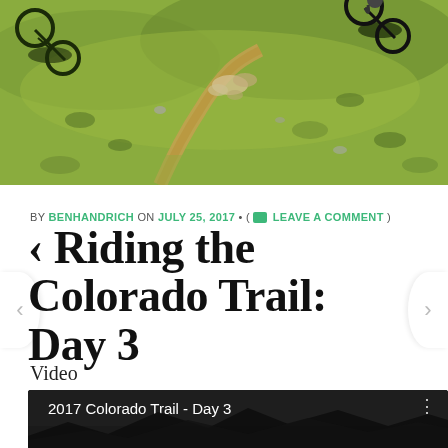[Figure (photo): Aerial or elevated view of a mountain biking trail with cyclists on a dirt path through green and brown scrubby terrain. Two cyclists visible with bikes parked near rocks.]
BY BENHANDRICH ON JULY 25, 2017 • ( LEAVE A COMMENT )
‹ Riding the Colorado Trail: Day 3
Video
[Figure (screenshot): Video player showing '2017 Colorado Trail - Day 3' with dark background and mountain silhouette at bottom]